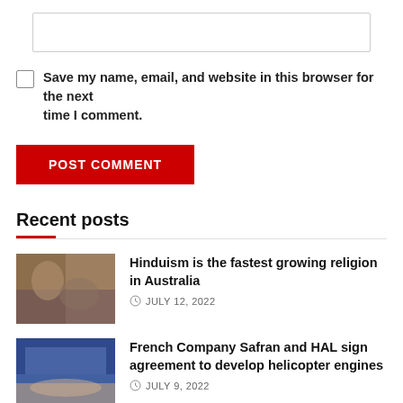[input field]
Save my name, email, and website in this browser for the next time I comment.
POST COMMENT
Recent posts
[Figure (photo): Thumbnail photo for Hinduism article]
Hinduism is the fastest growing religion in Australia
JULY 12, 2022
[Figure (photo): Thumbnail photo for French Company Safran and HAL article]
French Company Safran and HAL sign agreement to develop helicopter engines
JULY 9, 2022
[Figure (photo): Thumbnail photo for third article (partially visible)]